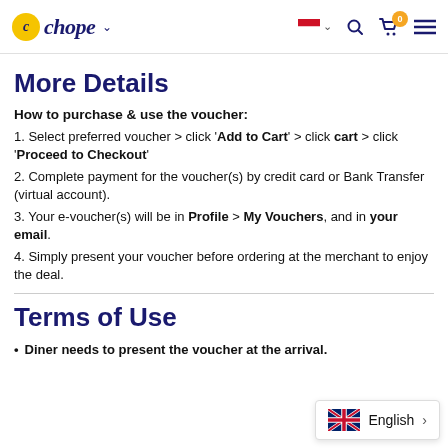Chope navigation header with logo, flag, search, cart, and menu icons
More Details
How to purchase & use the voucher:
1. Select preferred voucher > click 'Add to Cart' > click cart > click 'Proceed to Checkout'
2. Complete payment for the voucher(s) by credit card or Bank Transfer (virtual account).
3. Your e-voucher(s) will be in Profile > My Vouchers, and in your email.
4. Simply present your voucher before ordering at the merchant to enjoy the deal.
Terms of Use
Diner needs to present the voucher at the arrival.